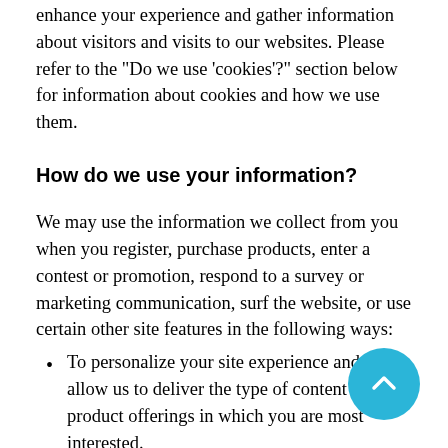enhance your experience and gather information about visitors and visits to our websites. Please refer to the "Do we use 'cookies'?" section below for information about cookies and how we use them.
How do we use your information?
We may use the information we collect from you when you register, purchase products, enter a contest or promotion, respond to a survey or marketing communication, surf the website, or use certain other site features in the following ways:
To personalize your site experience and to allow us to deliver the type of content and product offerings in which you are most interested.
To allow us to better service you in responding to your customer service requests.
To quickly process your transactions.